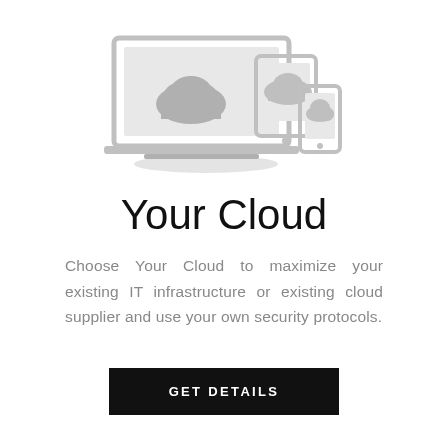[Figure (illustration): Light gray illustration of a laptop computer with a cloud icon on screen, a tablet with a cloud icon, and a smartphone with a cloud icon arranged together, with a subtle shadow beneath.]
Your Cloud
Choose Your Cloud to maximize your existing IT infrastructure or existing cloud supplier and use your own security protocols.
GET DETAILS